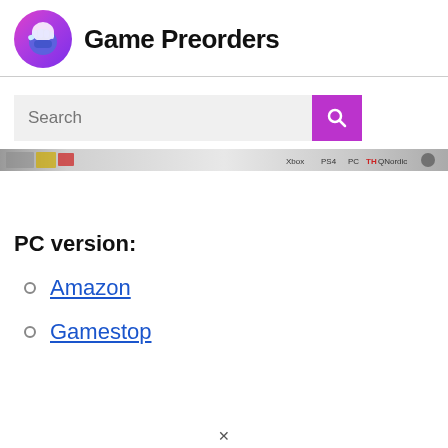Game Preorders
[Figure (screenshot): A thin banner image showing game platform logos: Xbox, PS4, PC, THQNordic and other rating/publisher icons on a grey metallic background.]
PC version:
Amazon
Gamestop